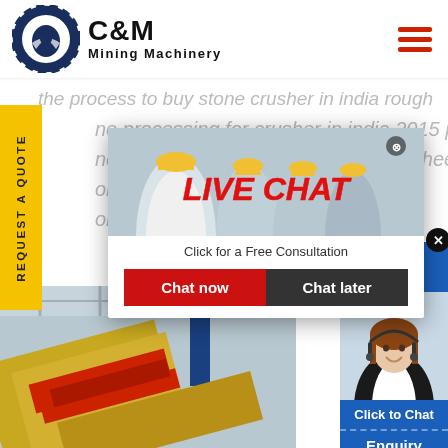[Figure (logo): C&M Mining Machinery logo with eagle/gear emblem in dark blue circle]
the process to buy stone crusher in india rough ne processing for crusher in india 2015 price iron ne crusher machine india price iron sheet prices or crush ce proce ombia . S
[Figure (screenshot): Live Chat overlay popup with workers in hard hats, LIVE CHAT heading in red italic, 'Click for a Free Consultation' subtitle, Chat now and Chat later buttons]
[Figure (screenshot): Right side chat widget showing Hours Online badge in blue, female agent with headset, Click to Chat button, Enquiry bar]
[Figure (photo): Industrial mining machinery/conveyor equipment in yellow and red colors at facility]